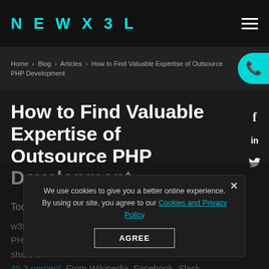NEWXEL
Home › Blog › Articles › How to Find Valuable Expertise of Outsource PHP Development
How to Find Valuable Expertise of Outsource PHP Development
Today, 79% of websites that operate through w3techs use PHP for their back-end. And the PHP market share is very popular in 2021, with a market share of 45.3 percent. From Wikipedia, Facebook, Slack,
We use cookies to give you a better online experience. By using our site, you agree to our Cookies and Privacy Policy